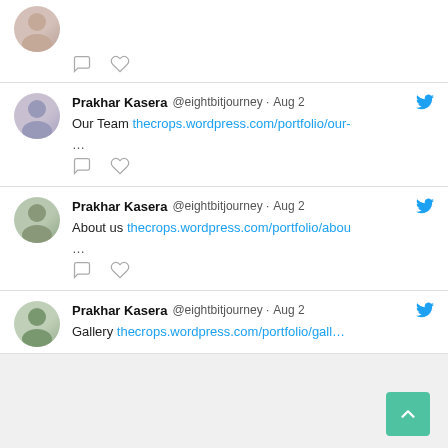[Figure (screenshot): Twitter/social media feed showing tweets from Prakhar Kasera (@eightbitjourney) dated Aug 2, with links to thecrops.wordpress.com portfolio pages for Our Team, About us, and Gallery. Each tweet has comment and like icons. A teal scroll-to-top button is in the bottom right.]